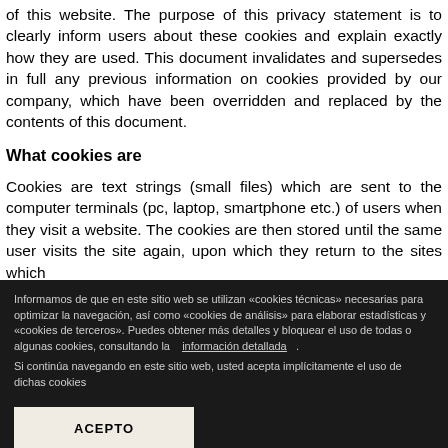of this website. The purpose of this privacy statement is to clearly inform users about these cookies and explain exactly how they are used. This document invalidates and supersedes in full any previous information on cookies provided by our company, which have been overridden and replaced by the contents of this document.
What cookies are
Cookies are text strings (small files) which are sent to the computer terminals (pc, laptop, smartphone etc.) of users when they visit a website. The cookies are then stored until the same user visits the site again, upon which they return to the sites which
Informamos de que en este sitio web se utilizan «cookies técnicas» necesarias para optimizar la navegación, así como «cookies de análisis» para elaborar estadísticas y «cookies de terceros». Puedes obtener más detalles y bloquear el uso de todas o algunas cookies, consultando la información detallada .
Si continúa navegando en este sitio web, usted acepta implícitamente el uso de dichas cookies
ACEPTO